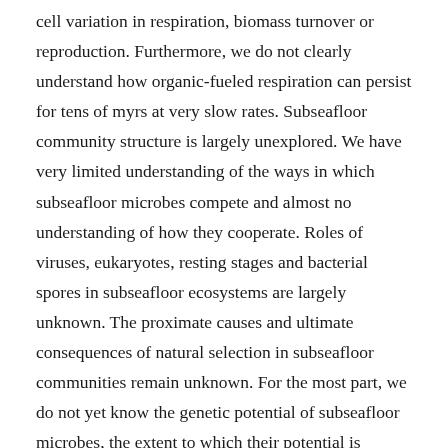cell variation in respiration, biomass turnover or reproduction. Furthermore, we do not clearly understand how organic-fueled respiration can persist for tens of myrs at very slow rates. Subseafloor community structure is largely unexplored. We have very limited understanding of the ways in which subseafloor microbes compete and almost no understanding of how they cooperate. Roles of viruses, eukaryotes, resting stages and bacterial spores in subseafloor ecosystems are largely unknown. The proximate causes and ultimate consequences of natural selection in subseafloor communities remain unknown. For the most part, we do not yet know the genetic potential of subseafloor microbes, the extent to which their potential is expressed, or the conditions under which they are expressed. The actual limits to subseafloor life are not yet known. Advancing understanding of these issues will yield fundamental insight into the nature of life.